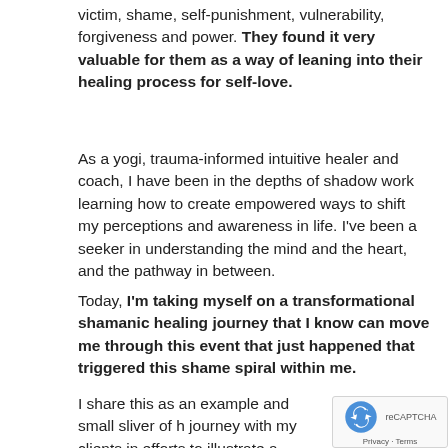victim, shame, self-punishment, vulnerability, forgiveness and power. They found it very valuable for them as a way of leaning into their healing process for self-love.
As a yogi, trauma-informed intuitive healer and coach, I have been in the depths of shadow work learning how to create empowered ways to shift my perceptions and awareness in life. I've been a seeker in understanding the mind and the heart, and the pathway in between.
Today, I'm taking myself on a transformational shamanic healing journey that I know can move me through this event that just happened that triggered this shame spiral within me.
I share this as an example and small sliver of h journey with my clients in efforts to illustrate a understanding of what I call "bridging the gap